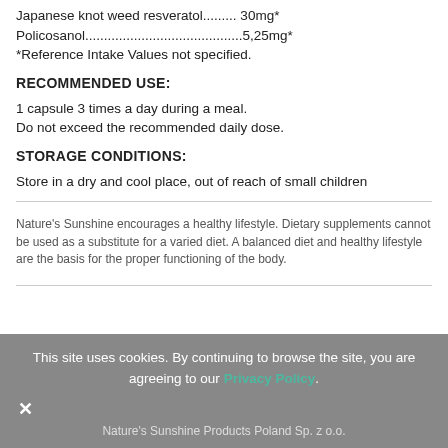Japanese knot weed resveratol......... 30mg*
Policosanol..........................................5,25mg*
*Reference Intake Values not specified.
RECOMMENDED USE:
1 capsule 3 times a day during a meal.
Do not exceed the recommended daily dose.
STORAGE CONDITIONS:
Store in a dry and cool place, out of reach of small children
Nature's Sunshine encourages a healthy lifestyle. Dietary supplements cannot be used as a substitute for a varied diet. A balanced diet and healthy lifestyle are the basis for the proper functioning of the body.
This site uses cookies. By continuing to browse the site, you are agreeing to our Privacy Policy.
Nature's Sunshine Products Poland Sp. z o.o.